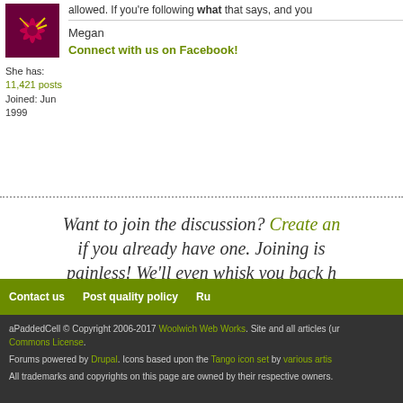[Figure (illustration): Avatar image with flower design on dark magenta/purple background]
She has:
11,421 posts
Joined: Jun 1999
allowed. If you're following what that says, and you...
Megan
Connect with us on Facebook!
Want to join the discussion? Create an account, or log in if you already have one. Joining is painless! We'll even whisk you back here when you're finished.
Contact us   Post quality policy   Ru...
aPaddedCell © Copyright 2006-2017 Woolwich Web Works. Site and all articles (un... Commons License.
Forums powered by Drupal. Icons based upon the Tango icon set by various artis...
All trademarks and copyrights on this page are owned by their respective owners.